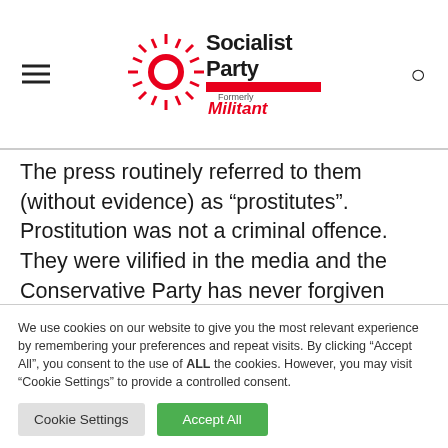Socialist Party - Formerly Militant
The press routinely referred to them (without evidence) as “prostitutes”. Prostitution was not a criminal offence. They were vilified in the media and the Conservative Party has never forgiven them. The scandal contributed to the Tories losing the 1964 election to Harold Wilson’s Labour Party.
We use cookies on our website to give you the most relevant experience by remembering your preferences and repeat visits. By clicking “Accept All”, you consent to the use of ALL the cookies. However, you may visit "Cookie Settings" to provide a controlled consent.